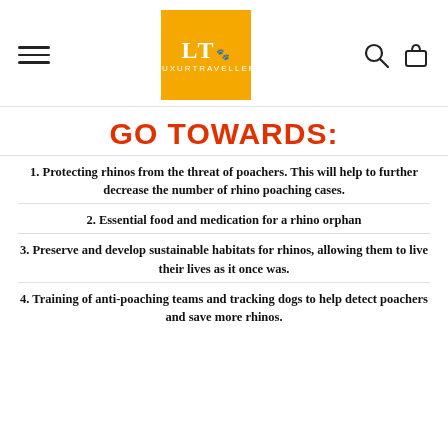LT LUXURTRAVELLER
GO TOWARDS:
1. Protecting rhinos from the threat of poachers. This will help to further decrease the number of rhino poaching cases.
2. Essential food and medication for a rhino orphan
3. Preserve and develop sustainable habitats for rhinos, allowing them to live their lives as it once was.
4. Training of anti-poaching teams and tracking dogs to help detect poachers and save more rhinos.